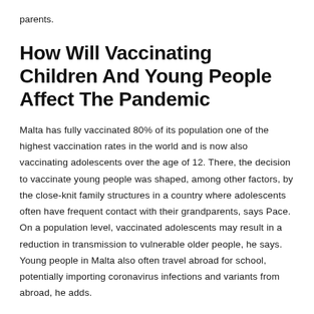parents.
How Will Vaccinating Children And Young People Affect The Pandemic
Malta has fully vaccinated 80% of its population one of the highest vaccination rates in the world and is now also vaccinating adolescents over the age of 12. There, the decision to vaccinate young people was shaped, among other factors, by the close-knit family structures in a country where adolescents often have frequent contact with their grandparents, says Pace. On a population level, vaccinated adolescents may result in a reduction in transmission to vulnerable older people, he says. Young people in Malta also often travel abroad for school, potentially importing coronavirus infections and variants from abroad, he adds.